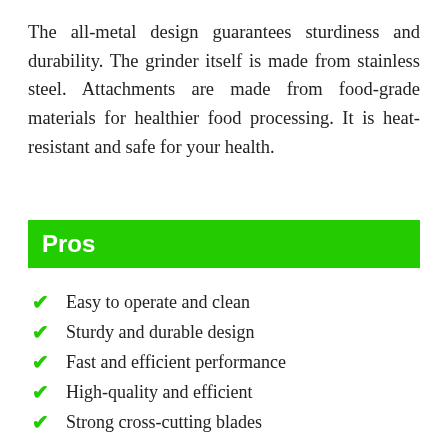The all-metal design guarantees sturdiness and durability. The grinder itself is made from stainless steel. Attachments are made from food-grade materials for healthier food processing. It is heat-resistant and safe for your health.
Pros
Easy to operate and clean
Sturdy and durable design
Fast and efficient performance
High-quality and efficient
Strong cross-cutting blades